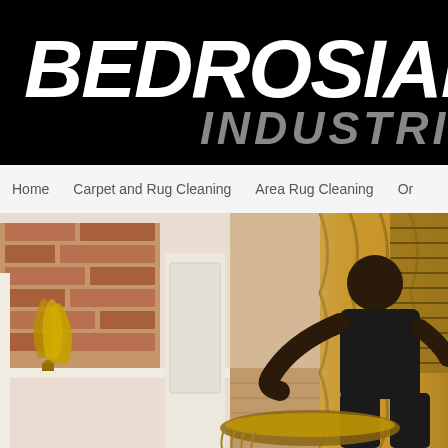[Figure (logo): Bedrosian Industries logo on black background. Large white bold italic text 'BEDROSIAN' with gray italic 'INDUSTRIES' beneath it.]
Home   Carpet and Rug Cleaning   Area Rug Cleaning   Or…
[Figure (photo): A man in dark clothing kneeling on a hardwood floor rolling up or cleaning a fringed area rug in a luxury interior with gold satin drapes, white wainscoting, brick fireplace with ornate gold fire screen.]